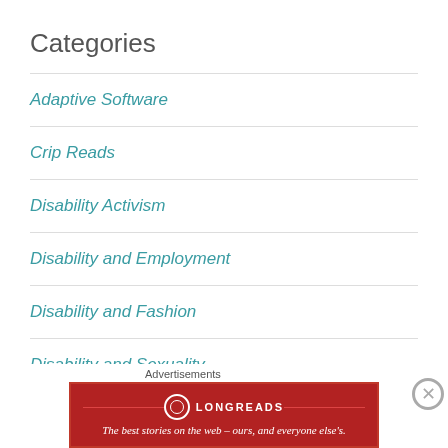Categories
Adaptive Software
Crip Reads
Disability Activism
Disability and Employment
Disability and Fashion
Disability and Sexuality
Disability and Technology
Advertisements
[Figure (other): Longreads advertisement banner with red background. Text: The best stories on the web – ours, and everyone else's.]